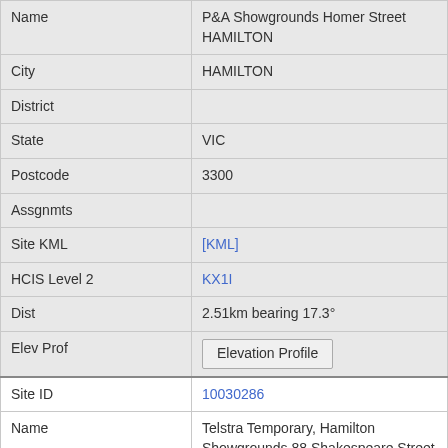| Name | P&A Showgrounds Homer Street HAMILTON |
| City | HAMILTON |
| District |  |
| State | VIC |
| Postcode | 3300 |
| Assgnmts |  |
| Site KML | [KML] |
| HCIS Level 2 | KX1I |
| Dist | 2.51km bearing 17.3° |
| Elev Prof | Elevation Profile |
| Site ID | 10030286 |
| Name | Telstra Temporary, Hamilton Showgrounds 88 Shakespeare Street Hamilton |
| City | Hamilton |
| District |  |
| State | VIC |
| Postcode |  |
| Assgnmts | 24 |